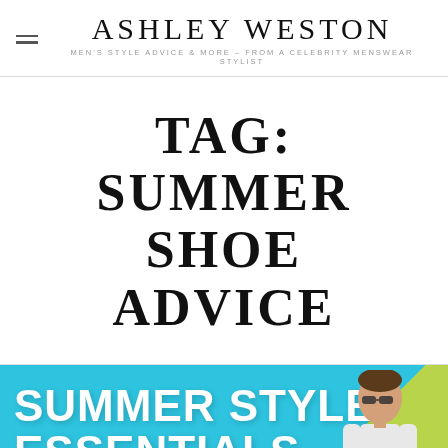ASHLEY WESTON
MEN'S STYLE ADVICE & MORE – FROM A CELEBRITY MENSWEAR STYLIST
TAG: SUMMER SHOE ADVICE
[Figure (illustration): Promotional banner image with blue and green background showing the text 'SUMMER STYLE ESSENTIALS' in bold white letters and a person (man with sunglasses) on the right side.]